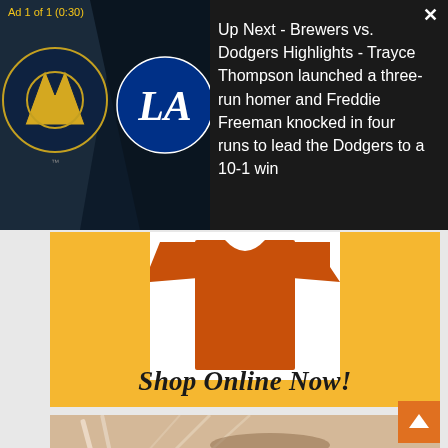Ad 1 of 1 (0:30)
×
Up Next - Brewers vs. Dodgers Highlights - Trayce Thompson launched a three-run homer and Freddie Freeman knocked in four runs to lead the Dodgers to a 10-1 win
[Figure (photo): Orange/rust colored t-shirt displayed on yellow/gold background shopping advertisement]
Shop Online Now!
[Figure (photo): Woman receiving facial beauty treatment, close-up of face with closed eyes]